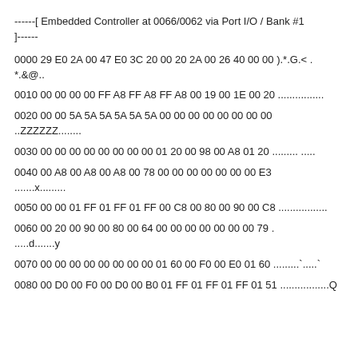------[ Embedded Controller at 0066/0062 via Port I/O / Bank #1
]------
0000 29 E0 2A 00 47 E0 3C 20 00 20 2A 00 26 40 00 00 ).*.G.< . *.&@..
0010 00 00 00 00 FF A8 FF A8 FF A8 00 19 00 1E 00 20 ................
0020 00 00 5A 5A 5A 5A 5A 5A 00 00 00 00 00 00 00 00 ..ZZZZZZ........
0030 00 00 00 00 00 00 00 00 01 20 00 98 00 A8 01 20 ......... .....
0040 00 A8 00 A8 00 A8 00 78 00 00 00 00 00 00 00 E3 .......x.........
0050 00 00 01 FF 01 FF 01 FF 00 C8 00 80 00 90 00 C8 .................
0060 00 20 00 90 00 80 00 64 00 00 00 00 00 00 00 79 . .....d.......y
0070 00 00 00 00 00 00 00 00 01 60 00 F0 00 E0 01 60 .........`.....`
0080 00 D0 00 F0 00 D0 00 B0 01 FF 01 FF 01 FF 01 51 .................Q